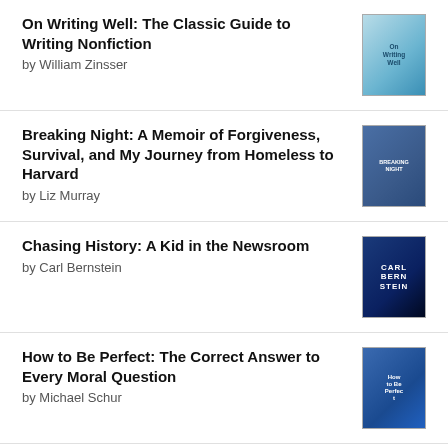On Writing Well: The Classic Guide to Writing Nonfiction by William Zinsser
Breaking Night: A Memoir of Forgiveness, Survival, and My Journey from Homeless to Harvard by Liz Murray
Chasing History: A Kid in the Newsroom by Carl Bernstein
How to Be Perfect: The Correct Answer to Every Moral Question by Michael Schur
The Hidden Oracle